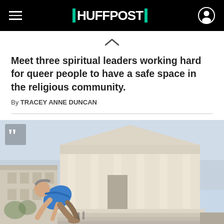HUFFPOST
Meet three spiritual leaders working hard for queer people to have a safe space in the religious community.
By TRACEY ANNE DUNCAN
[Figure (photo): A man in a blue shirt kneeling in prayer or grief on the steps in front of the US Supreme Court building. A large quotation mark overlay is visible in the upper left corner of the image.]